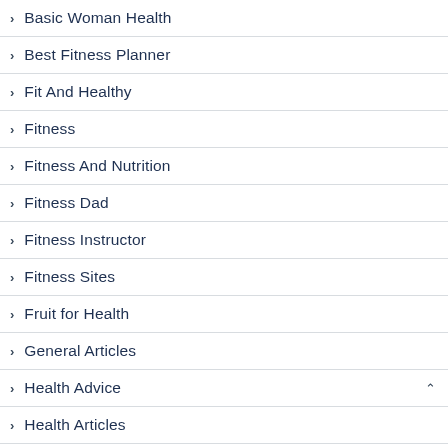Basic Woman Health
Best Fitness Planner
Fit And Healthy
Fitness
Fitness And Nutrition
Fitness Dad
Fitness Instructor
Fitness Sites
Fruit for Health
General Articles
Health Advice
Health Articles